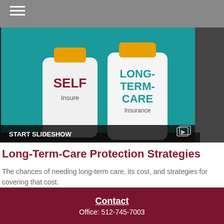[Figure (photo): Photo of two medicine bottles on a teal background - one labeled 'SELF Insure' and another labeled 'LONG-TERM-CARE Insurance'. A 'START SLIDESHOW' bar appears at the bottom of the image.]
Long-Term-Care Protection Strategies
The chances of needing long-term care, its cost, and strategies for covering that cost.
Contact
Office: 512-745-7003